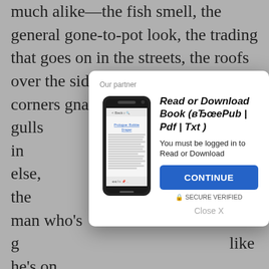much alike—the fish smell, the general gone-to-pot look, the trading that goes on in the streets, the roofs over the sidewalks, the cats in corners gnawing on fish heads, the gulls in … ybody else, the … fishmon… n man who's g… like he's on relie… hing fish out … eighing them in … raction of a frac… nd singing … ay he conduct… her that son… d humor,
[Figure (screenshot): Modal dialog overlay with 'Our partner' label, phone image showing a book app, title 'Read or Download Book (вЂœePub | Pdf | Txt)', subtitle 'You must be logged in to Read or Download', blue CONTINUE button, SECURE VERIFIED text, and Close X link.]
Louie is … face—h… and his eyes are large and brown and observant. He is white-haired. His complexion is reddish, and his face and the backs of his hands are speckled with freckles and liver